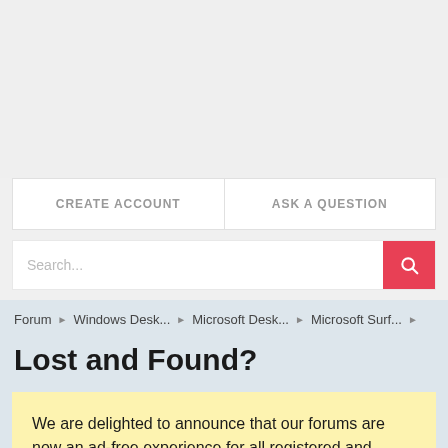[Figure (other): Gray empty banner/ad space at the top of the page]
CREATE ACCOUNT
ASK A QUESTION
Search...
Forum ▸ Windows Desk... ▸ Microsoft Desk... ▸ Microsoft Surf... ▸
Lost and Found?
We are delighted to announce that our forums are now an ad-free experience for all registered and